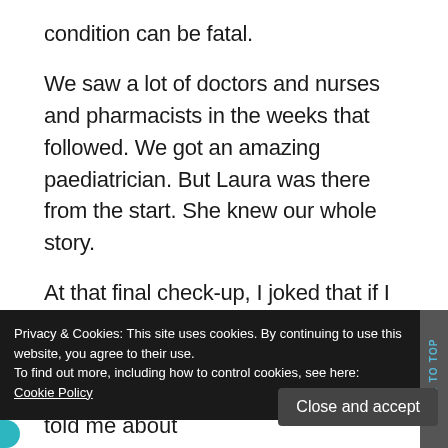condition can be fatal.
We saw a lot of doctors and nurses and pharmacists in the weeks that followed. We got an amazing paediatrician. But Laura was there from the start. She knew our whole story.
At that final check-up, I joked that if I didn't want to say goodbye, I'd just have to get pregnant again. I wanted to keep her forever. There had to be a better way, I thought. What if we didn't have
Privacy & Cookies: This site uses cookies. By continuing to use this website, you agree to their use. To find out more, including how to control cookies, see here: Cookie Policy
Close and accept
As Laura finished up my exam, she told me about